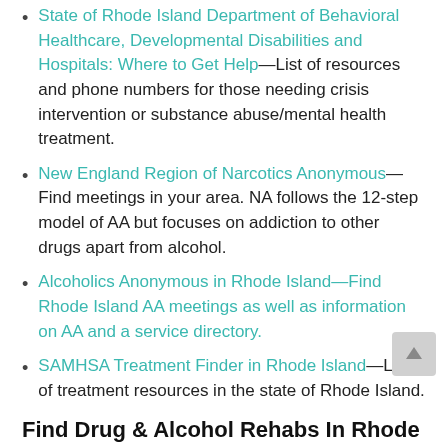State of Rhode Island Department of Behavioral Healthcare, Developmental Disabilities and Hospitals: Where to Get Help—List of resources and phone numbers for those needing crisis intervention or substance abuse/mental health treatment.
New England Region of Narcotics Anonymous—Find meetings in your area. NA follows the 12-step model of AA but focuses on addiction to other drugs apart from alcohol.
Alcoholics Anonymous in Rhode Island—Find Rhode Island AA meetings as well as information on AA and a service directory.
SAMHSA Treatment Finder in Rhode Island—List of treatment resources in the state of Rhode Island.
Find Drug & Alcohol Rehabs In Rhode island